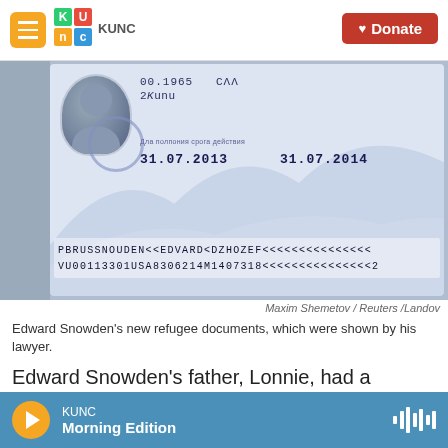KUNC | Donate
[Figure (photo): Photo of Edward Snowden's Russian refugee documents/asylum papers, showing passport-style document with MRZ lines: PBRUSSNOUDEN<<EDVARD<DZHOZEF<<<<<<<<<<<<<<< and VU00113301USA8306214M1407318<<<<<<<<<<<<<<<2, with dates 31.07.2013 and 31.07.2014]
Maxim Shemetov / Reuters /Landov
Edward Snowden's new refugee documents, which were shown by his lawyer.
Edward Snowden's father, Lonnie, had a dramatic change of heart this week: Back in June, he sent a letter to Attorney General Eric Holder in which he
KUNC
Morning Edition